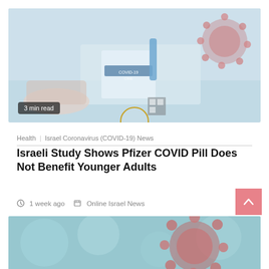[Figure (photo): COVID-19 vaccine vial and syringe with coronavirus model, hands visible, blue background]
3 min read
Health · Israel Coronavirus (COVID-19) News
Israeli Study Shows Pfizer COVID Pill Does Not Benefit Younger Adults
1 week ago · Online Israel News
[Figure (photo): Coronavirus particle close-up with red spike proteins on teal/blue background]